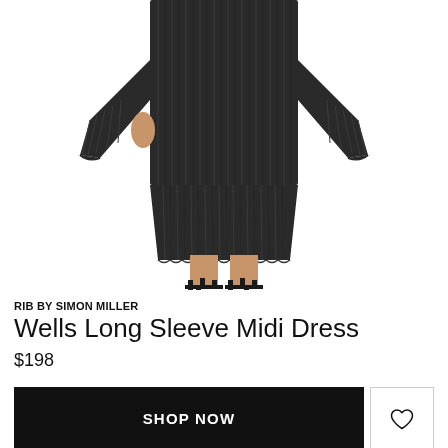[Figure (photo): Woman wearing a black ribbed long sleeve midi dress with flared cuffs and strappy black heeled sandals, shown from waist down on white background.]
RIB BY SIMON MILLER
Wells Long Sleeve Midi Dress
$198
SHOP NOW